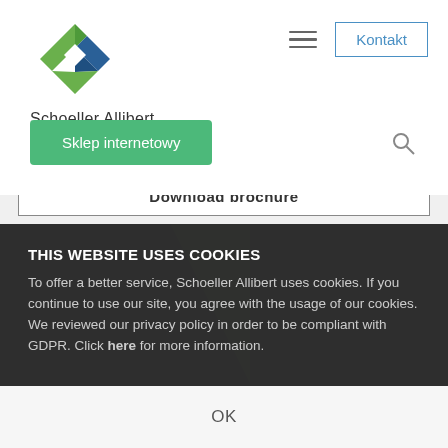[Figure (logo): Schoeller Allibert logo — green and blue diamond/angular shape with text 'Schoeller Allibert' below]
Kontakt
Sklep internetowy
Download brochure
THIS WEBSITE USES COOKIES
To offer a better service, Schoeller Allibert uses cookies. If you continue to use our site, you agree with the usage of our cookies. We reviewed our privacy policy in order to be compliant with GDPR. Click here for more information.
OK